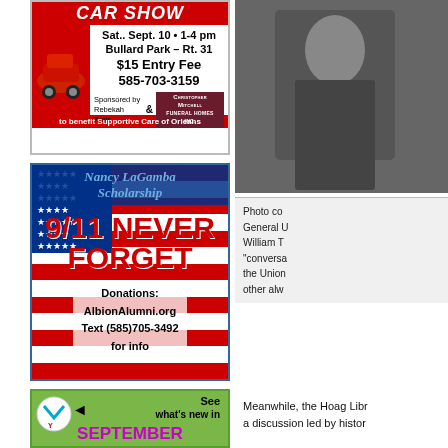[Figure (photo): Car Show advertisement: Sat. Sept. 10, 1-4 pm, Bullard Park - Rt. 31, $15 Entry Fee, 585-703-3159, Sponsored by Rebekah Karls & Christopher Mitchell Funeral Homes Inc., to benefit Supportive Care of Orleans]
[Figure (illustration): Nancy LaGamba Scholarship 9/11 NEVER FORGET. Donations: AlbionAlumni.org Text (585)705-3492 for info. American flag background with stars.]
[Figure (photo): YMCA ad: See what's new in SEPTEMBER at the Orleans County YMCA. Green background with YMCA logo.]
[Figure (photo): Partial photo on right side of page - appears to be a person, cut off at right edge]
Photo co... General U... William T... "conversa... the Union... other alw...
Meanwhile, the Hoag Libr... a discussion led by histor...